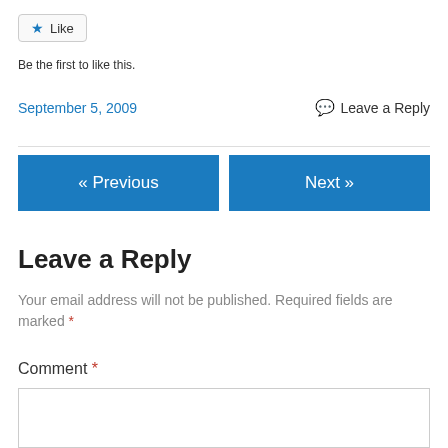[Figure (other): Like button with star icon]
Be the first to like this.
September 5, 2009
Leave a Reply
« Previous
Next »
Leave a Reply
Your email address will not be published. Required fields are marked *
Comment *